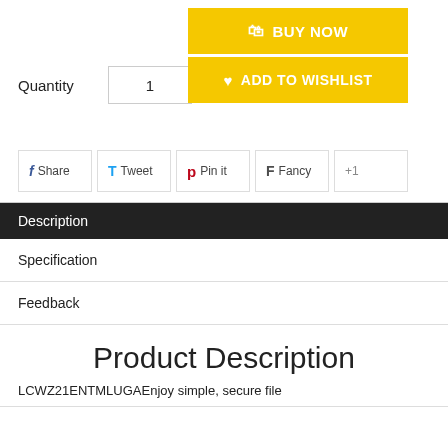Quantity  1
BUY NOW
ADD TO WISHLIST
f Share   T Tweet   p Pin it   F Fancy   +1
Description
Specification
Feedback
Product Description
LCWZ21ENTMLUGAEnjoy simple, secure file